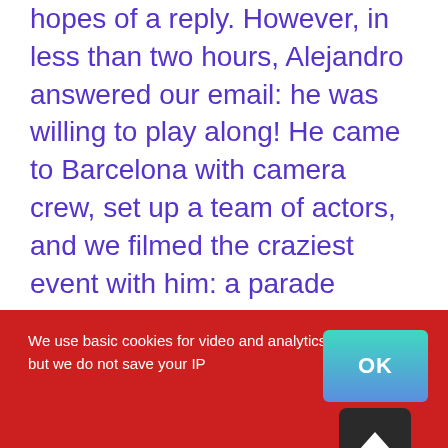hopes of a reply. However, in less than two hours, Alejandro answered our email: he was willing to play along! He came to Barcelona with camera crew, set up a team of actors, and we filmed the craziest event with him: a parade following by burning an old wardrobe at the summer solstice, on the bonfire organised by an association of residents in Joan Miró Park. Because, rather than just come out of the closet, it's better to burn it down, right?
We use basic cookies for video and analytics, but we do not save your IP